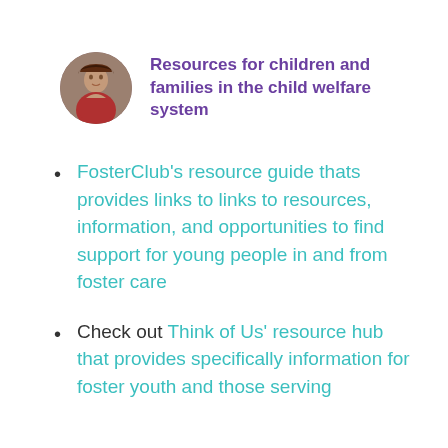[Figure (photo): Circular profile photo of a child wearing a red plaid shirt]
Resources for children and families in the child welfare system
FosterClub's resource guide thats provides links to links to resources, information, and opportunities to find support for young people in and from foster care
Check out Think of Us' resource hub that provides specifically information for foster youth and those serving